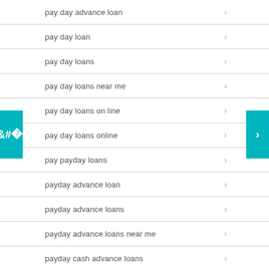pay day advance loan
pay day loan
pay day loans
pay day loans near me
pay day loans on line
pay day loans online
pay payday loans
payday advance loan
payday advance loans
payday advance loans near me
payday cash advance loans